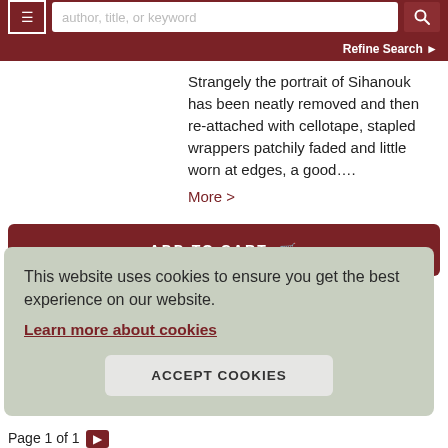author, title, or keyword | Refine Search
Strangely the portrait of Sihanouk has been neatly removed and then re-attached with cellotape, stapled wrappers patchily faded and little worn at edges, a good….
More >
ADD TO CART
This website uses cookies to ensure you get the best experience on our website.
Learn more about cookies
ACCEPT COOKIES